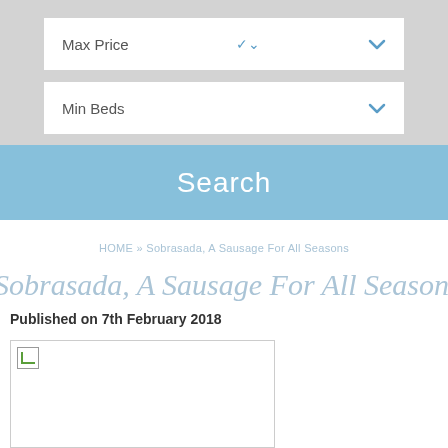Max Price
Min Beds
Search
HOME » Sobrasada, A Sausage For All Seasons
Sobrasada, A Sausage For All Seasons
Published on 7th February 2018
[Figure (photo): Broken image placeholder for article about Sobrasada sausage]